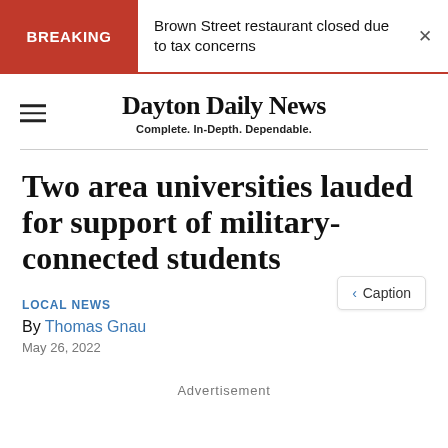BREAKING — Brown Street restaurant closed due to tax concerns
Dayton Daily News — Complete. In-Depth. Dependable.
Two area universities lauded for support of military-connected students
LOCAL NEWS
By Thomas Gnau
May 26, 2022
< Caption
Advertisement